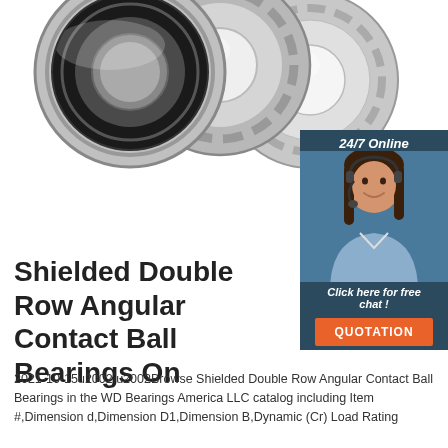[Figure (photo): Three ball bearings (two sealed/shielded with black rubber seals and one open) arranged overlapping each other against a white background]
[Figure (photo): 24/7 Online customer service representative - woman with headset smiling, with dark teal panel showing '24/7 Online', 'Click here for free chat!' text and orange QUOTATION button]
Shielded Double Row Angular Contact Ball Bearings On
2021-10-15u2002·u2002Browse Shielded Double Row Angular Contact Ball Bearings in the WD Bearings America LLC catalog including Item #,Dimension d,Dimension D1,Dimension B,Dynamic (Cr) Load Rating